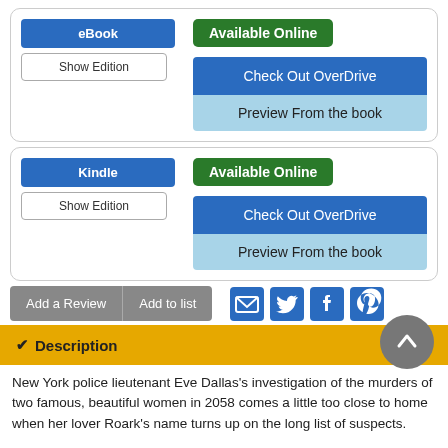eBook
Available Online
Show Edition
Check Out OverDrive
Preview From the book
Kindle
Available Online
Show Edition
Check Out OverDrive
Preview From the book
Add a Review
Add to list
Description
New York police lieutenant Eve Dallas's investigation of the murders of two famous, beautiful women in 2058 comes a little too close to home when her lover Roark's name turns up on the long list of suspects.